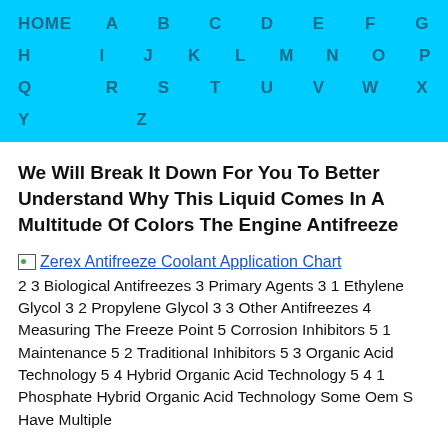HOME A B C D E F G H I J K L M N O P Q R S T U V W X Y Z
We Will Break It Down For You To Better Understand Why This Liquid Comes In A Multitude Of Colors The Engine Antifreeze
[Figure (other): Image link: Zerex Antifreeze Coolant Application Chart]
2 3 Biological Antifreezes 3 Primary Agents 3 1 Ethylene Glycol 3 2 Propylene Glycol 3 3 Other Antifreezes 4 Measuring The Freeze Point 5 Corrosion Inhibitors 5 1 Maintenance 5 2 Traditional Inhibitors 5 3 Organic Acid Technology 5 4 Hybrid Organic Acid Technology 5 4 1 Phosphate Hybrid Organic Acid Technology Some Oem S Have Multiple